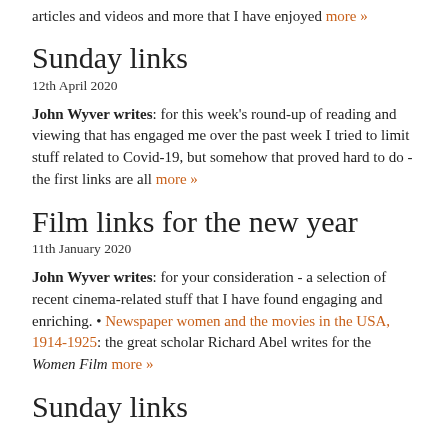articles and videos and more that I have enjoyed more »
Sunday links
12th April 2020
John Wyver writes: for this week's round-up of reading and viewing that has engaged me over the past week I tried to limit stuff related to Covid-19, but somehow that proved hard to do - the first links are all more »
Film links for the new year
11th January 2020
John Wyver writes: for your consideration - a selection of recent cinema-related stuff that I have found engaging and enriching. • Newspaper women and the movies in the USA, 1914-1925: the great scholar Richard Abel writes for the Women Film more »
Sunday links